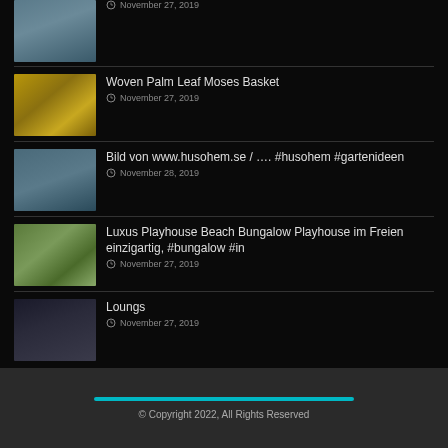November 27, 2019
Woven Palm Leaf Moses Basket
November 27, 2019
Bild von www.husohem.se / …. #husohem #gartenideen
November 28, 2019
Luxus Playhouse Beach Bungalow Playhouse im Freien einzigartig, #bungalow #in
November 27, 2019
Loungs
November 27, 2019
© Copyright 2022, All Rights Reserved